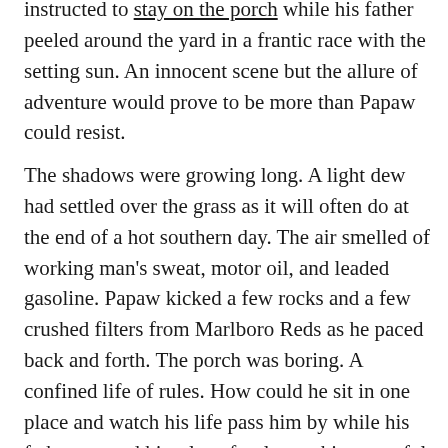instructed to stay on the porch while his father peeled around the yard in a frantic race with the setting sun. An innocent scene but the allure of adventure would prove to be more than Papaw could resist.
The shadows were growing long. A light dew had settled over the grass as it will often do at the end of a hot southern day. The air smelled of working man's sweat, motor oil, and leaded gasoline. Papaw kicked a few rocks and a few crushed filters from Marlboro Reds as he paced back and forth. The porch was boring. A confined life of rules. How could he sit in one place and watch his life pass him by while his father taunted him; lap after lap on his powerful steed? Slaying clumps of Fescue and the battling overgrown weeds.
Inside Papaw’s soul, something stirred.
A desire to confront danger head-on and prove that all warnings from family are ill-founded and meant only for mere mortals. Adventure was at his fingertips and he would have it!
He ventured away from the safety of the porch and entered into a